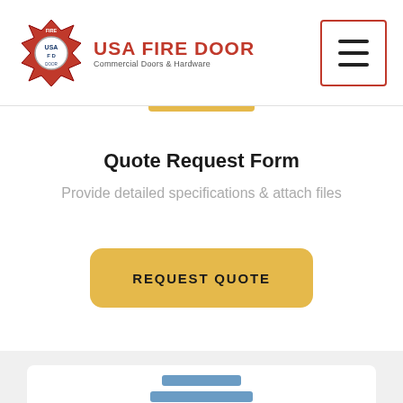[Figure (logo): USA Fire Door logo with red fire department badge and company name 'USA FIRE DOOR Commercial Doors & Hardware']
[Figure (screenshot): Hamburger menu button with red border containing three horizontal bars]
Quote Request Form
Provide detailed specifications & attach files
REQUEST QUOTE
[Figure (screenshot): Bottom card section with three horizontal loading/placeholder bars in blue-gray color]